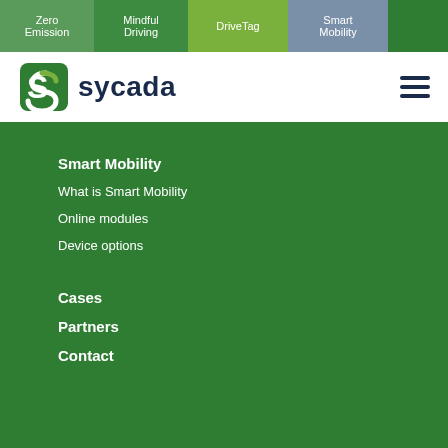Zero Emission | Mindful Driving | DriveTag | Smart Mobility
[Figure (logo): Sycada logo with green S icon and dark blue sycada text]
Smart Mobility
What is Smart Mobility
Online modules
Device options
Cases
Partners
Contact